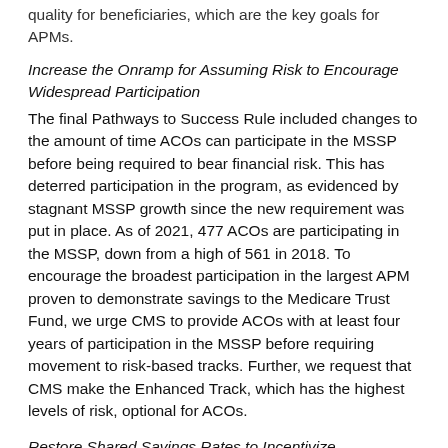quality for beneficiaries, which are the key goals for APMs.
Increase the Onramp for Assuming Risk to Encourage Widespread Participation
The final Pathways to Success Rule included changes to the amount of time ACOs can participate in the MSSP before being required to bear financial risk. This has deterred participation in the program, as evidenced by stagnant MSSP growth since the new requirement was put in place. As of 2021, 477 ACOs are participating in the MSSP, down from a high of 561 in 2018. To encourage the broadest participation in the largest APM proven to demonstrate savings to the Medicare Trust Fund, we urge CMS to provide ACOs with at least four years of participation in the MSSP before requiring movement to risk-based tracks. Further, we request that CMS make the Enhanced Track, which has the highest levels of risk, optional for ACOs.
Restore Shared Savings Rates to Incentivize Participation
The final Pathways to Success Rule diminished the shared savings an ACO can keep after proving to lower costs to